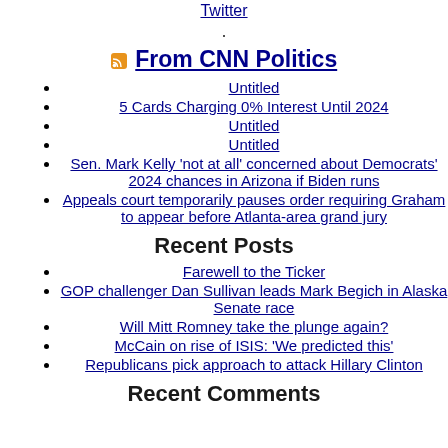Twitter
.
From CNN Politics
Untitled
5 Cards Charging 0% Interest Until 2024
Untitled
Untitled
Sen. Mark Kelly 'not at all' concerned about Democrats' 2024 chances in Arizona if Biden runs
Appeals court temporarily pauses order requiring Graham to appear before Atlanta-area grand jury
Recent Posts
Farewell to the Ticker
GOP challenger Dan Sullivan leads Mark Begich in Alaska Senate race
Will Mitt Romney take the plunge again?
McCain on rise of ISIS: 'We predicted this'
Republicans pick approach to attack Hillary Clinton
Recent Comments